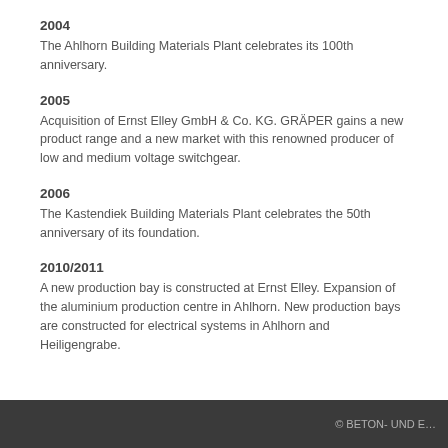2004
The Ahlhorn Building Materials Plant celebrates its 100th anniversary.
2005
Acquisition of Ernst Elley GmbH & Co. KG. GRÄPER gains a new product range and a new market with this renowned producer of low and medium voltage switchgear.
2006
The Kastendiek Building Materials Plant celebrates the 50th anniversary of its foundation.
2010/2011
A new production bay is constructed at Ernst Elley. Expansion of the aluminium production centre in Ahlhorn. New production bays are constructed for electrical systems in Ahlhorn and Heiligengrabe.
© BETON- UND E…